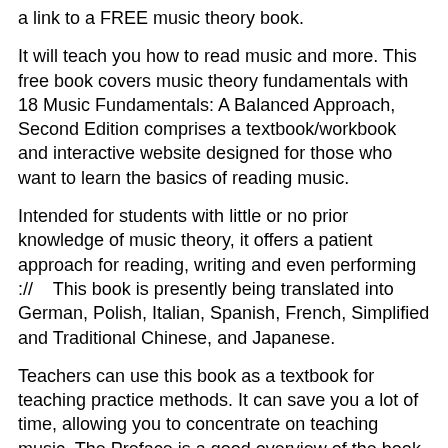a link to a FREE music theory book.
It will teach you how to read music and more. This free book covers music theory fundamentals with 18 Music Fundamentals: A Balanced Approach, Second Edition comprises a textbook/workbook and interactive website designed for those who want to learn the basics of reading music.
Intended for students with little or no prior knowledge of music theory, it offers a patient approach for reading, writing and even performing :// This book is presently being translated into German, Polish, Italian, Spanish, French, Simplified and Traditional Chinese, and Japanese.
Teachers can use this book as a textbook for teaching practice methods. It can save you a lot of time, allowing you to concentrate on teaching music. The Preface is a good overview of the book, ■■Fundamentals of Music Processing: Audio, Analysis, Algorithms, Applications ■■■■■■■■■■.
“Müller’s “Fundamentals of Music Processing” is an excellent introduction to the kind of audio processing used in music information retrieval.